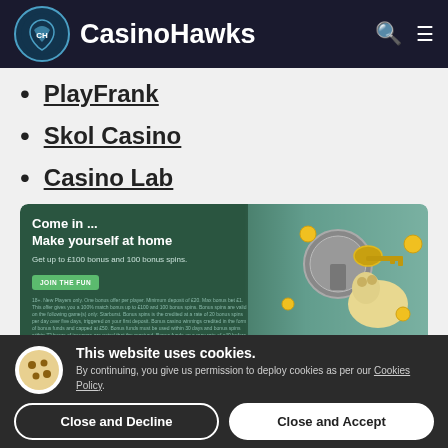CasinoHawks
PlayFrank
Skol Casino
Casino Lab
[Figure (screenshot): PlayFrank casino banner: Come in ... Make yourself at home. Get up to £100 bonus and 100 bonus spins. JOIN THE FUN button. Fine print text below. Right side shows illustrated dog with keys and coins.]
This website uses cookies. By continuing, you give us permission to deploy cookies as per our Cookies Policy.
Close and Decline
Close and Accept